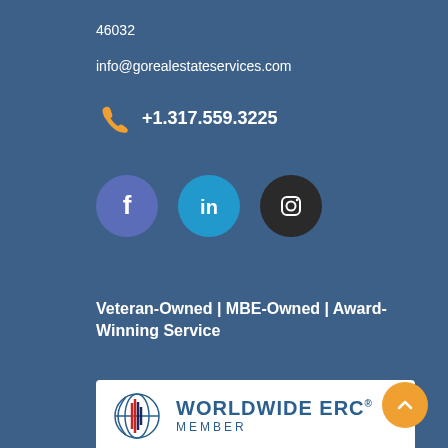46032
info@gorealestateservices.com
+1.317.559.3225
[Figure (illustration): Social media icons: Facebook (blue-purple circle), LinkedIn (blue circle), Instagram (dark circle)]
Veteran-Owned | MBE-Owned | Award-Winning Service
[Figure (logo): Worldwide ERC Member badge with globe logo on white background]